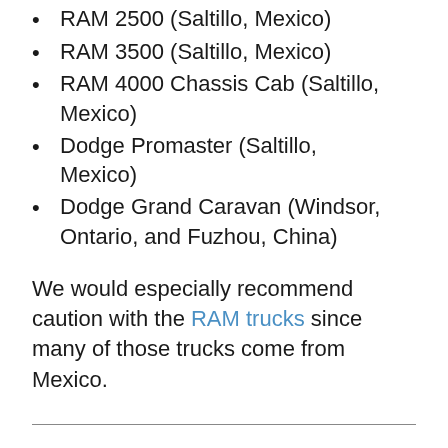RAM 2500 (Saltillo, Mexico)
RAM 3500 (Saltillo, Mexico)
RAM 4000 Chassis Cab (Saltillo, Mexico)
Dodge Promaster (Saltillo, Mexico)
Dodge Grand Caravan (Windsor, Ontario, and Fuzhou, China)
We would especially recommend caution with the RAM trucks since many of those trucks come from Mexico.